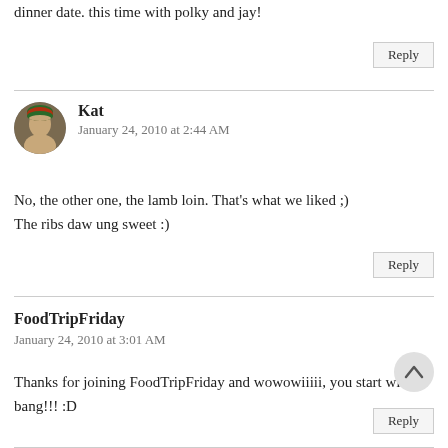dinner date. this time with polky and jay!
Reply
Kat
January 24, 2010 at 2:44 AM
No, the other one, the lamb loin. That's what we liked ;) The ribs daw ung sweet :)
Reply
FoodTripFriday
January 24, 2010 at 3:01 AM
Thanks for joining FoodTripFriday and wowowiiiii, you start with a bang!!! :D
Reply